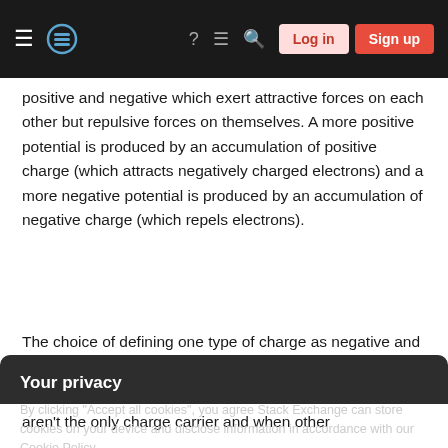Stack Exchange navigation bar with Log in and Sign up buttons
positive and negative which exert attractive forces on each other but repulsive forces on themselves. A more positive potential is produced by an accumulation of positive charge (which attracts negatively charged electrons) and a more negative potential is produced by an accumulation of negative charge (which repels electrons).
The choice of defining one type of charge as negative and the other as positive was made arbitrarily, before the electron (with negative charge)
Your privacy
By clicking "Accept all cookies", you agree Stack Exchange can store cookies on your device and disclose information in accordance with our Cookie Policy.
Accept all cookies   Customize settings
aren't the only charge carrier and when other